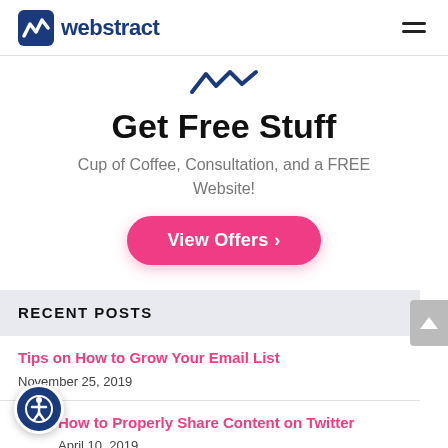webstract
[Figure (logo): Webstract logo with stylized 'W' icon in dark blue and the word 'webstract' in bold dark blue text]
Get Free Stuff
Cup of Coffee, Consultation, and a FREE Website!
View Offers >
RECENT POSTS
Tips on How to Grow Your Email List
November 25, 2019
How to Properly Share Content on Twitter
April 10, 2019